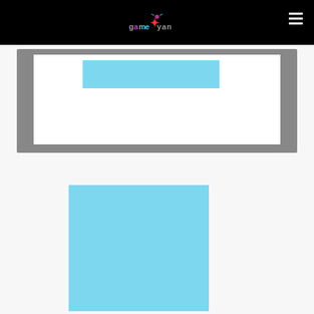gameyan logo and navigation
[Figure (screenshot): A framed white content area with a light blue rectangle placeholder inside a gray border frame]
[Figure (photo): A large light blue rectangle placeholder image below the framed area]